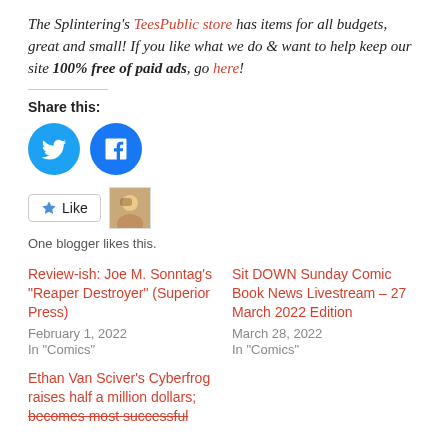The Splintering's TeesPublic store has items for all budgets, great and small! If you like what we do & want to help keep our site 100% free of paid ads, go here!
Share this:
[Figure (illustration): Two circular social media share buttons: Twitter (blue bird icon) and Facebook (blue f icon)]
[Figure (illustration): Like button with star icon and a small blogger avatar photo thumbnail]
One blogger likes this.
Review-ish: Joe M. Sonntag's "Reaper Destroyer" (Superior Press)
February 1, 2022
In "Comics"
Sit DOWN Sunday Comic Book News Livestream – 27 March 2022 Edition
March 28, 2022
In "Comics"
Ethan Van Sciver's Cyberfrog raises half a million dollars; becomes most successful